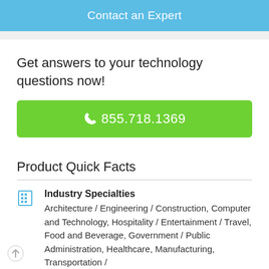[Figure (other): Blue button with text 'Contact an Expert']
Get answers to your technology questions now!
[Figure (other): Green phone button showing 855.718.1369]
Product Quick Facts
Industry Specialties
Architecture / Engineering / Construction, Computer and Technology, Hospitality / Entertainment / Travel, Food and Beverage, Government / Public Administration, Healthcare, Manufacturing, Transportation /